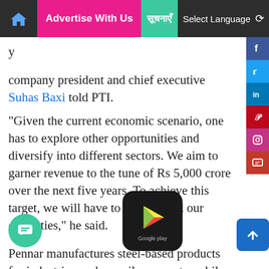Advertise With Us | [Hindi text] | Select Language
...company president and chief executive Suhas Baxi told PTI.
"Given the current economic scenario, one has to explore other opportunities and diversify into different sectors. We aim to garner revenue to the tune of Rs 5,000 crore over the next five years. To achieve this target, we will have to also expand our capacities," he said.
Pennar manufactures steel-based products for industries such as railways, automobiles, building and construction, pollution control equipment, infrastructure and road safety systems.
"During the last few quarters, the railways and automobile sectors, our core business are not doing so well. we have to look at different opportunities of diversification,